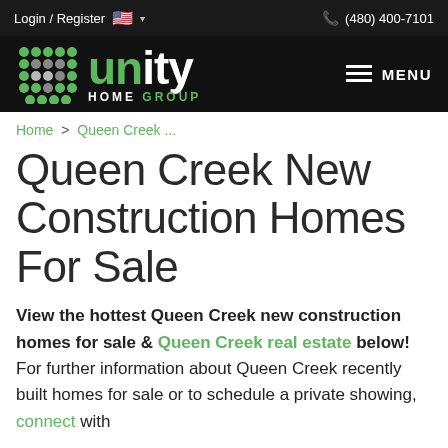Login / Register  🇺🇸  ▾    (480) 400-7101
[Figure (logo): Unity Home Group logo on black background with hamburger menu and MENU label]
Home > Queen Creek ...
Queen Creek New Construction Homes For Sale
View the hottest Queen Creek new construction homes for sale & Queen Creek real estate below! For further information about Queen Creek recently built homes for sale or to schedule a private showing, connect with